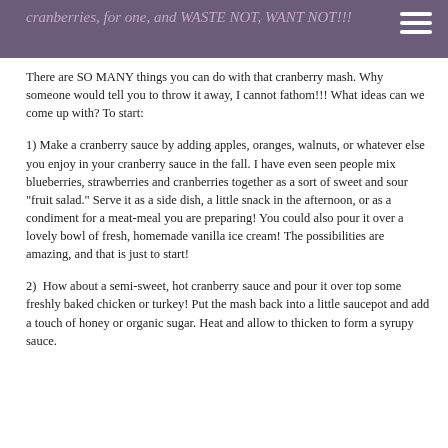cranberries, for one, and WASTE NOT, WANT NOT!!!
There are SO MANY things you can do with that cranberry mash. Why someone would tell you to throw it away, I cannot fathom!!! What ideas can we come up with? To start:
1) Make a cranberry sauce by adding apples, oranges, walnuts, or whatever else you enjoy in your cranberry sauce in the fall. I have even seen people mix blueberries, strawberries and cranberries together as a sort of sweet and sour "fruit salad." Serve it as a side dish, a little snack in the afternoon, or as a condiment for a meat-meal you are preparing! You could also pour it over a lovely bowl of fresh, homemade vanilla ice cream! The possibilities are amazing, and that is just to start!
2)  How about a semi-sweet, hot cranberry sauce and pour it over top some freshly baked chicken or turkey! Put the mash back into a little saucepot and add a touch of honey or organic sugar. Heat and allow to thicken to form a syrupy sauce.